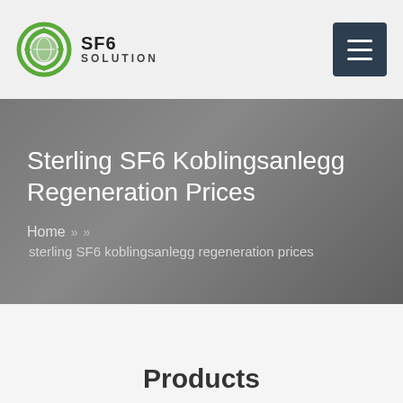[Figure (logo): SF6 Solution logo with green circular recycling-style icon and text SF6 SOLUTION]
SF6 SOLUTION — navigation bar with hamburger menu
Sterling SF6 Koblingsanlegg Regeneration Prices
Home »  »
sterling SF6 koblingsanlegg regeneration prices
Products